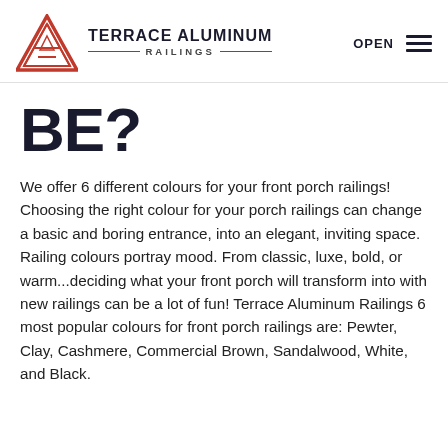TERRACE ALUMINUM RAILINGS — OPEN
BE?
We offer 6 different colours for your front porch railings! Choosing the right colour for your porch railings can change a basic and boring entrance, into an elegant, inviting space. Railing colours portray mood. From classic, luxe, bold, or warm...deciding what your front porch will transform into with new railings can be a lot of fun! Terrace Aluminum Railings 6 most popular colours for front porch railings are: Pewter, Clay, Cashmere, Commercial Brown, Sandalwood, White, and Black.